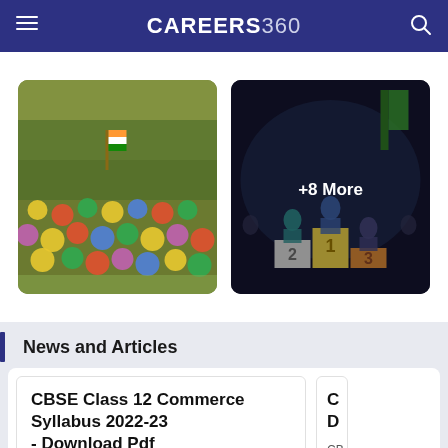CAREERS360
[Figure (photo): Crowd of school children sitting on grass with Indian flags, outdoor event]
[Figure (photo): Award ceremony with podium showing positions 1, 2, 3 and people standing on stage, with '+8 More' overlay badge]
News and Articles
CBSE Class 12 Commerce Syllabus 2022-23 - Download Pdf
CBSE Class 12 commerce syllabus 2022-23 - CBSE releases the Class 12 Commerce syllabus ...
1 day ago
Read More →
View More →